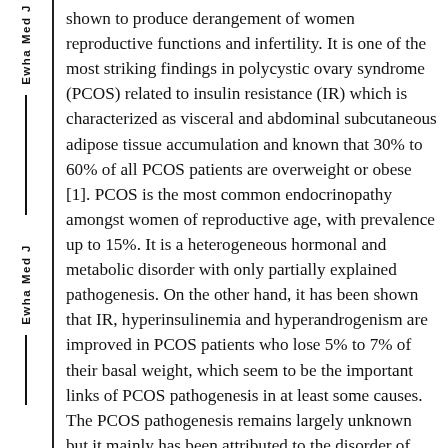shown to produce derangement of women reproductive functions and infertility. It is one of the most striking findings in polycystic ovary syndrome (PCOS) related to insulin resistance (IR) which is characterized as visceral and abdominal subcutaneous adipose tissue accumulation and known that 30% to 60% of all PCOS patients are overweight or obese [1]. PCOS is the most common endocrinopathy amongst women of reproductive age, with prevalence up to 15%. It is a heterogeneous hormonal and metabolic disorder with only partially explained pathogenesis. On the other hand, it has been shown that IR, hyperinsulinemia and hyperandrogenism are improved in PCOS patients who lose 5% to 7% of their basal weight, which seem to be the important links of PCOS pathogenesis in at least some causes.
The PCOS pathogenesis remains largely unknown but it mainly has been attributed to the disorder of folliculogenesis which causing oligo-ovulatory cycles or